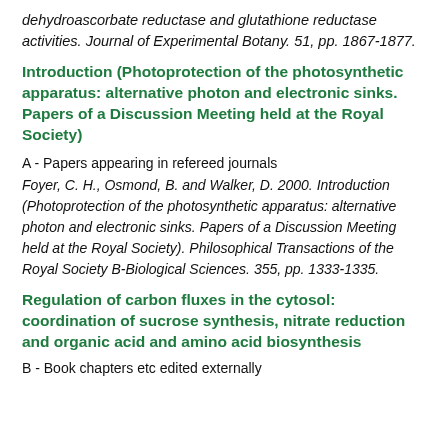dehydroascorbate reductase and glutathione reductase activities. Journal of Experimental Botany. 51, pp. 1867-1877.
Introduction (Photoprotection of the photosynthetic apparatus: alternative photon and electronic sinks. Papers of a Discussion Meeting held at the Royal Society)
A - Papers appearing in refereed journals
Foyer, C. H., Osmond, B. and Walker, D. 2000. Introduction (Photoprotection of the photosynthetic apparatus: alternative photon and electronic sinks. Papers of a Discussion Meeting held at the Royal Society). Philosophical Transactions of the Royal Society B-Biological Sciences. 355, pp. 1333-1335.
Regulation of carbon fluxes in the cytosol: coordination of sucrose synthesis, nitrate reduction and organic acid and amino acid biosynthesis
B - Book chapters etc edited externally